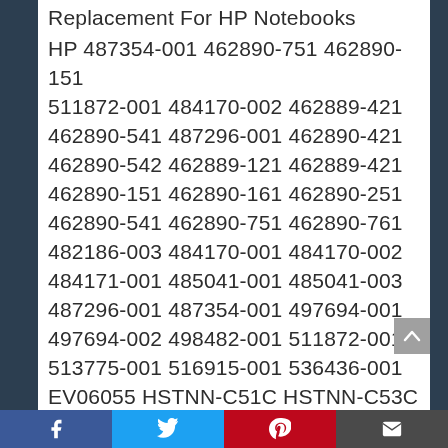Replacement For HP Notebooks HP 487354-001 462890-751 462890-151 511872-001 484170-002 462889-421 462890-541 487296-001 462890-421 462890-542 462889-121 462889-421 462890-151 462890-161 462890-251 462890-541 462890-751 462890-761 482186-003 484170-001 484170-002 484171-001 485041-001 485041-003 487296-001 487354-001 497694-001 497694-002 498482-001 511872-001 513775-001 516915-001 536436-001 EV06055 HSTNN-C51C HSTNN-C53C HSTNN-CB72 HSTNN-CB73 HSTNN-DB72 HSTNN-DB73 HSTNN-IB72 HSTNN-IB73 HSTNN-IB79
Facebook Twitter Pinterest Email